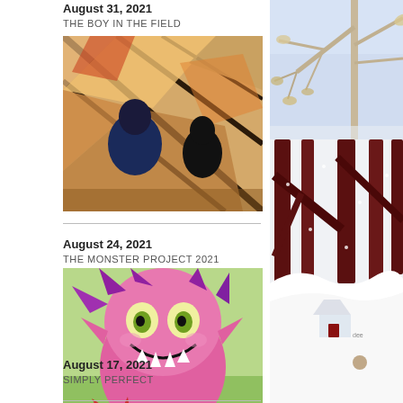August 31, 2021
THE BOY IN THE FIELD
[Figure (illustration): Two silhouetted figures (one in blue jacket, one dark) standing before large windows with warm light and geometric shadows]
[Figure (illustration): Winter tree branches against light blue-purple sky, partial view cropped on right side]
August 24, 2021
THE MONSTER PROJECT 2021
[Figure (illustration): Bright pink cartoon monster with purple hair, big green eyes, fangs, smiling cheerfully on green background]
[Figure (illustration): Snowy winter scene with dark red tree trunks and a small red house covered in snow, tiny figure visible]
August 17, 2021
SIMPLY PERFECT